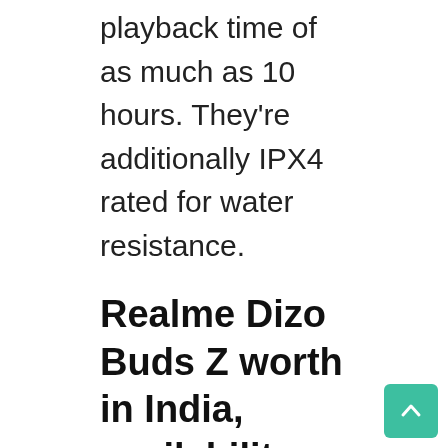playback time of as much as 10 hours. They're additionally IPX4 rated for water resistance.
Realme Dizo Buds Z worth in India, availability
[Figure (other): Broken image placeholder with text 'adsclassified.net' in teal color]
The Realme Dizo Buds Z worth in India has been set at Rs. 1,999. Nonetheless, the TWS earphones will probably be obtainable for a particular worth of Rs. 1,299 throughout Flipkart's Big Billion Days Sale 2021. The Realme Dizo earphones will probably be available to purchase in the course of the